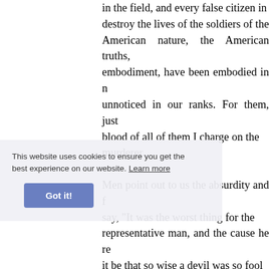in the field, and every false citizen in destroy the lives of the soldiers of the American nature, the American truths, embodiment, have been embodied in n unnoticed in our ranks. For them, just blood of all of them I charge on the murderer.

Men point out to us the absurdity and f say, "It was the worst thing for the representative man, and the cause he re it be that so wise a devil was so fool madman, born and nursed in his own matter. It was a foolish act. Its folly wa But when did sin begin to be wise? Wh stop saying in his heart, "There is no impiety. The cause that Abraham Linco and sterner. Stronger to set its pillars execute the justice of the Lord upon h whole land into freedom; sterner to sw homes. But while we feel the folly of t
This website uses cookies to ensure you get the best experience on our website. Learn more